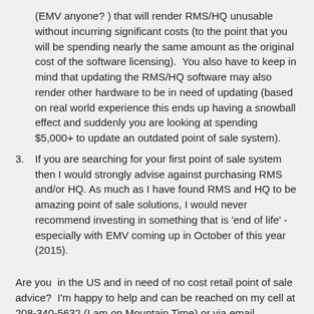(EMV anyone? ) that will render RMS/HQ unusable without incurring significant costs (to the point that you will be spending nearly the same amount as the original cost of the software licensing).  You also have to keep in mind that updating the RMS/HQ software may also render other hardware to be in need of updating (based on real world experience this ends up having a snowball effect and suddenly you are looking at spending $5,000+ to update an outdated point of sale system).
If you are searching for your first point of sale system then I would strongly advise against purchasing RMS and/or HQ. As much as I have found RMS and HQ to be amazing point of sale solutions, I would never recommend investing in something that is 'end of life' - especially with EMV coming up in October of this year (2015).
Are you  in the US and in need of no cost retail point of sale advice?  I'm happy to help and can be reached on my cell at 208-340-5632 (I am on Mountain Time) or via email